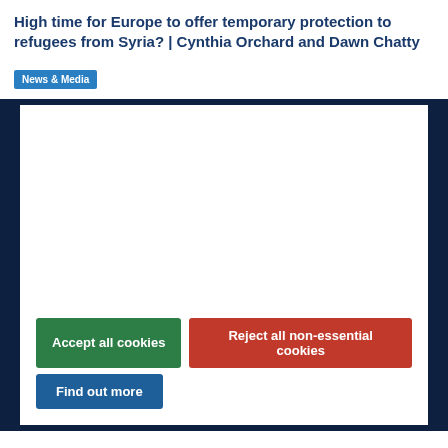High time for Europe to offer temporary protection to refugees from Syria? | Cynthia Orchard and Dawn Chatty
News & Media
[Figure (screenshot): White content area embedded in a dark navy background, showing a cookie consent dialog with Accept all cookies (green), Reject all non-essential cookies (red), and Find out more (blue) buttons.]
Accept all cookies
Reject all non-essential cookies
Find out more